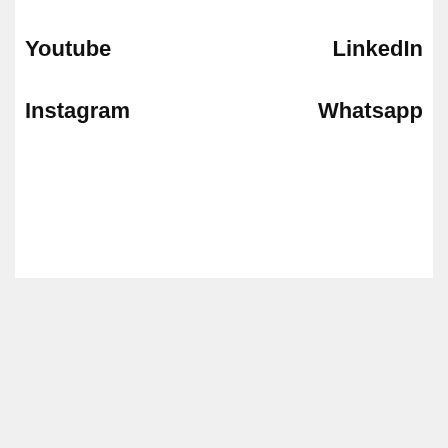Youtube
LinkedIn
Instagram
Whatsapp